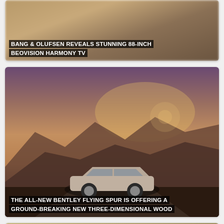[Figure (photo): Blurred brownish abstract image, top of article card for Bang & Olufsen story]
BANG & OLUFSEN REVEALS STUNNING 88-INCH BEOVISION HARMONY TV
[Figure (photo): Luxury silver Bentley Flying Spur sedan photographed against dramatic sunset mountain backdrop with golden-purple sky]
THE ALL-NEW BENTLEY FLYING SPUR IS OFFERING A GROUND-BREAKING NEW THREE-DIMENSIONAL WOOD
[Figure (photo): Sandy/earthy landscape partial view at bottom of page]